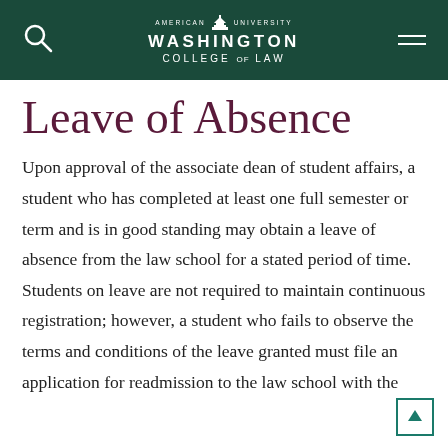American University Washington College of Law
Leave of Absence
Upon approval of the associate dean of student affairs, a student who has completed at least one full semester or term and is in good standing may obtain a leave of absence from the law school for a stated period of time. Students on leave are not required to maintain continuous registration; however, a student who fails to observe the terms and conditions of the leave granted must file an application for readmission to the law school with the